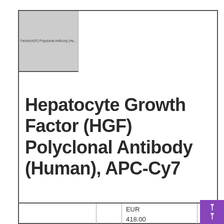[Figure (other): Thumbnail image placeholder with label: Factor(HGF) Polyclonal Antibody (Hu...]
Hepatocyte Growth Factor (HGF) Polyclonal Antibody (Human), APC-Cy7
|  |  | EUR 418.00 EUR |  |